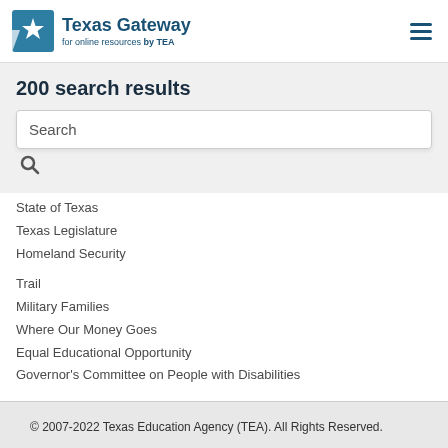Texas Gateway for online resources by TEA
200 search results
Search
State of Texas
Texas Legislature
Homeland Security
Trail
Military Families
Where Our Money Goes
Equal Educational Opportunity
Governor's Committee on People with Disabilities
© 2007-2022 Texas Education Agency (TEA). All Rights Reserved.